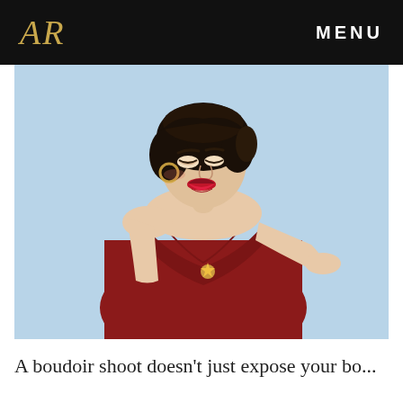AR   MENU
[Figure (photo): A woman with dark vintage-style hair wearing a red off-shoulder dress with a star brooch, smiling and looking down, posed against a light blue background.]
A boudoir shoot doesn't just expose your bo...